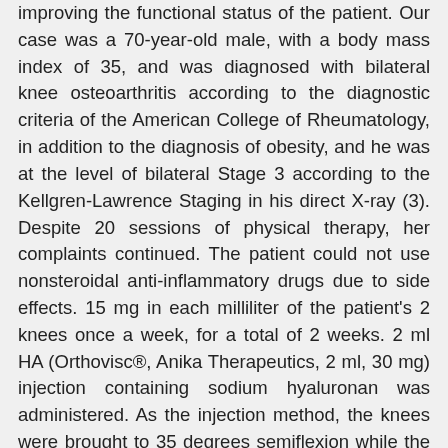improving the functional status of the patient. Our case was a 70-year-old male, with a body mass index of 35, and was diagnosed with bilateral knee osteoarthritis according to the diagnostic criteria of the American College of Rheumatology, in addition to the diagnosis of obesity, and he was at the level of bilateral Stage 3 according to the Kellgren-Lawrence Staging in his direct X-ray (3). Despite 20 sessions of physical therapy, her complaints continued. The patient could not use nonsteroidal anti-inflammatory drugs due to side effects. 15 mg in each milliliter of the patient's 2 knees once a week, for a total of 2 weeks. 2 ml HA (Orthovisc®, Anika Therapeutics, 2 ml, 30 mg) injection containing sodium hyaluronan was administered. As the injection method, the knees were brought to 35 degrees semiflexion while the patient was lying in the supine position, and the application was made under aseptic conditions from the outer side of the patella.